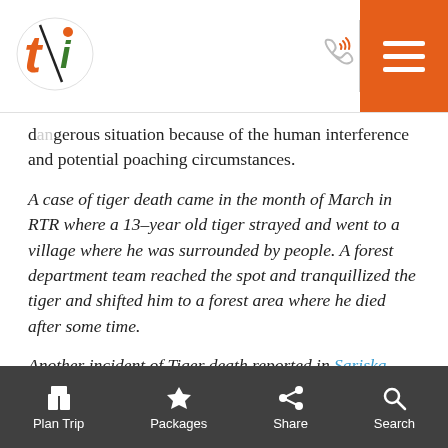[Logo: ti travel] [phone icon] [hamburger menu]
dangerous situation because of the human interference and potential poaching circumstances.
A case of tiger death came in the month of March in RTR where a 13-year old tiger strayed and went to a village where he was surrounded by people. A forest department team reached the spot and tranquillized the tiger and shifted him to a forest area where he died after some time.
Another incident of Tiger death reported in Sariska Forest Reserve in the same month. The four-year-old male Tiger went into a farm where he died after getting strangled by a wire trap which was set-up by a farmer in order to restrict the movement of wild animals in the farm.
In March, a tiger from Corbett Tiger Reserve strayed to
Plan Trip  Packages  Share  Search